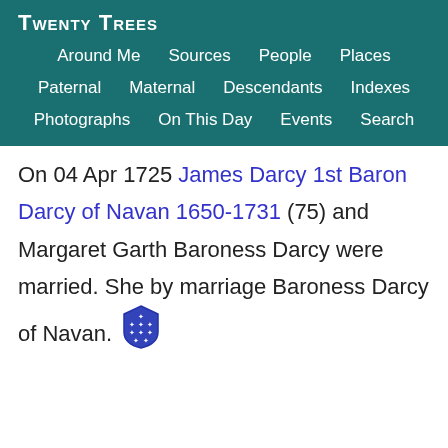Twenty Trees
Around Me | Sources | People | Places | Paternal | Maternal | Descendants | Indexes | Photographs | On This Day | Events | Search
On 04 Apr 1725 James Darcy 1st Baron Darcy of Navan 1650-1731 (75) and Margaret Garth Baroness Darcy were married. She by marriage Baroness Darcy of Navan.